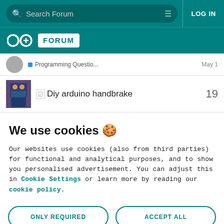Search Forum | LOG IN
[Figure (logo): Arduino Forum logo with infinity symbol and FORUM badge]
Programming Questio... May 1
☑ Diy arduino handbrake  19
We use cookies 🍪
Our websites use cookies (also from third parties) for functional and analytical purposes, and to show you personalised advertisement. You can adjust this in Cookie Settings or learn more by reading our cookie policy.
ONLY REQUIRED | ACCEPT ALL